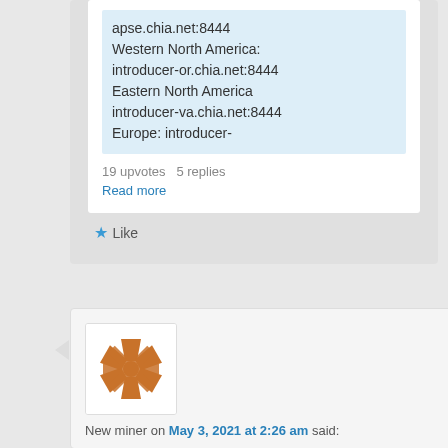apse.chia.net:8444
Western North America: introducer-or.chia.net:8444
Eastern North America introducer-va.chia.net:8444
Europe: introducer-
19 upvotes  5 replies
Read more
★ Like
[Figure (logo): Chia Network decorative snowflake/windmill logo in brown/orange on white background]
New miner on May 3, 2021 at 2:26 am said: